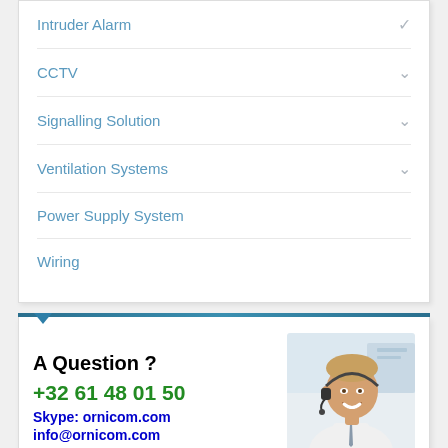Intruder Alarm
CCTV
Signalling Solution
Ventilation Systems
Power Supply System
Wiring
[Figure (photo): Contact banner with text 'A Question?', phone number +32 61 48 01 50, Skype: ornicom.com, info@ornicom.com, and a photo of a smiling man with a headset]
Need a Catalog ?